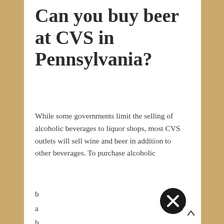Can you buy beer at CVS in Pennsylvania?
While some governments limit the selling of alcoholic beverages to liquor shops, most CVS outlets will sell wine and beer in addition to other beverages. To purchase alcoholic b a b
[Figure (illustration): Black circular close/dismiss button with white X in the center]
[Figure (illustration): Scroll-to-top button: white circle with upward arrow, positioned at bottom right]